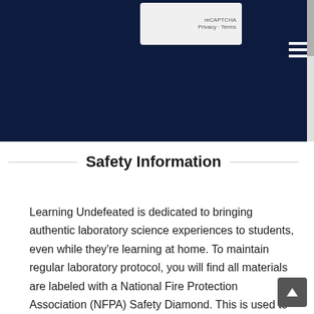[Figure (screenshot): Dark navy banner with reCAPTCHA widget visible in upper portion, hamburger menu icon on right side, and scrollbar on far right]
Safety Information
Learning Undefeated is dedicated to bringing authentic laboratory science experiences to students, even while they're learning at home. To maintain regular laboratory protocol, you will find all materials are labeled with a National Fire Protection Association (NFPA) Safety Diamond. This is used to quickly tell users about the hazards that a material possesses including health, flammability, and instability hazards. Though all of the materials